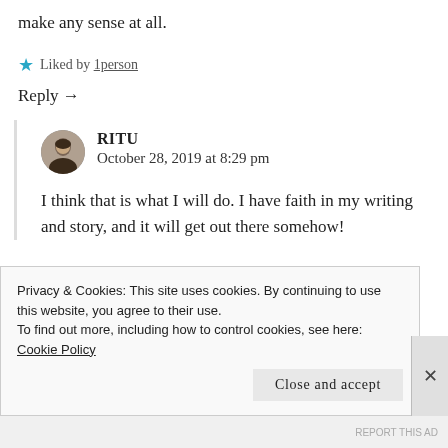make any sense at all.
★ Liked by 1person
Reply →
RITU
October 28, 2019 at 8:29 pm
I think that is what I will do. I have faith in my writing and story, and it will get out there somehow!
Privacy & Cookies: This site uses cookies. By continuing to use this website, you agree to their use.
To find out more, including how to control cookies, see here: Cookie Policy
Close and accept